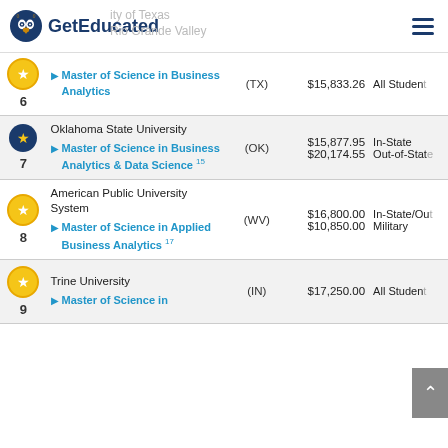GetEducated
| Rank | School / Program | State | Cost | Type |
| --- | --- | --- | --- | --- |
| 6 | University of Texas Rio Grande Valley
Master of Science in Business Analytics | (TX) | $15,833.26 | All Students |
| 7 | Oklahoma State University
Master of Science in Business Analytics & Data Science 15 | (OK) | $15,877.95 / $20,174.55 | In-State / Out-of-State |
| 8 | American Public University System
Master of Science in Applied Business Analytics 17 | (WV) | $16,800.00 / $10,850.00 | In-State/Out / Military |
| 9 | Trine University
Master of Science in... | (IN) | $17,250.00 | All Students |